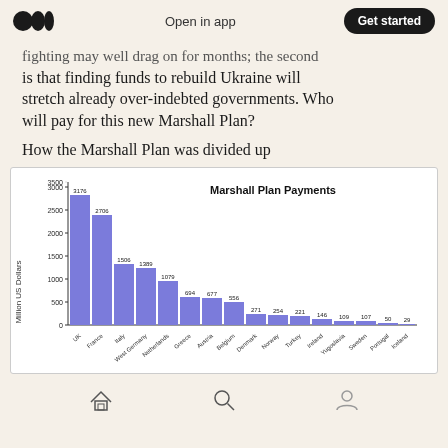Open in app | Get started
fighting may well drag on for months; the second is that finding funds to rebuild Ukraine will stretch already over-indebted governments. Who will pay for this new Marshall Plan?
How the Marshall Plan was divided up
[Figure (bar-chart): Marshall Plan Payments]
home | search | profile